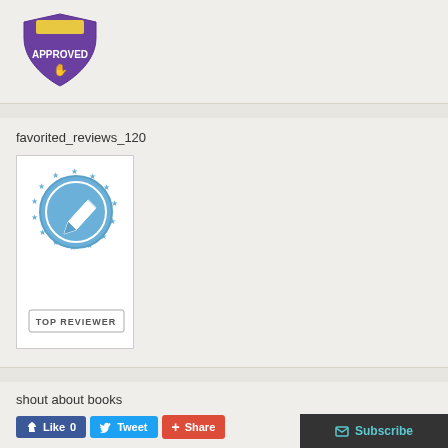[Figure (logo): Purple shield-shaped 'APPROVED' badge with a hand icon]
favorited_reviews_120
[Figure (logo): Blue circular 'TOP REVIEWER' badge with a pen/pencil icon and stars around the border]
shout about books
[Figure (infographic): Social media buttons: Like 0 (Facebook), Tweet (Twitter), Share (Google+), and Subscribe button]